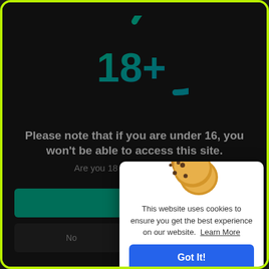[Figure (illustration): 18+ age restriction icon — teal/green gradient circle with '18+' text inside]
Please note that if you are under 16, you won't be able to access this site.
Are you 18 years old or older?
[Figure (illustration): Cookie consent popup with cookie emoji image, text 'This website uses cookies to ensure you get the best experience on our website. Learn More', and a blue 'Got It!' button]
This website uses cookies to ensure you get the best experience on our website.  Learn More
Got It!